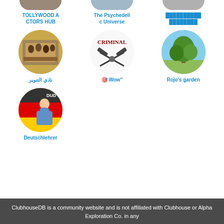[Figure (illustration): Grid of club/group avatar circles with names below]
TOLLYWOOD ACTORS HUB
The Psychedelic Universe
██████████ ████████
نادي التنوير
🎯 Wow"
Rojo's garden
Deutschlehrer
ClubhouseDB is a community website and is not affiliated with Clubhouse or Alpha Exploration Co. in any